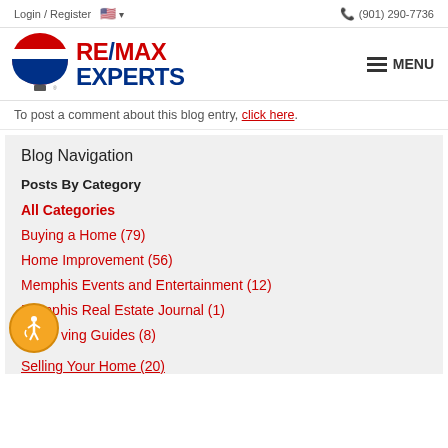Login / Register  🇺🇸 ▾   (901) 290-7736
[Figure (logo): RE/MAX balloon logo and RE/MAX EXPERTS text logo with hamburger MENU button]
To post a comment about this blog entry, click here.
Blog Navigation
Posts By Category
All Categories
Buying a Home  (79)
Home Improvement  (56)
Memphis Events and Entertainment  (12)
Memphis Real Estate Journal  (1)
...ving Guides  (8)
Selling Your Home  (20)